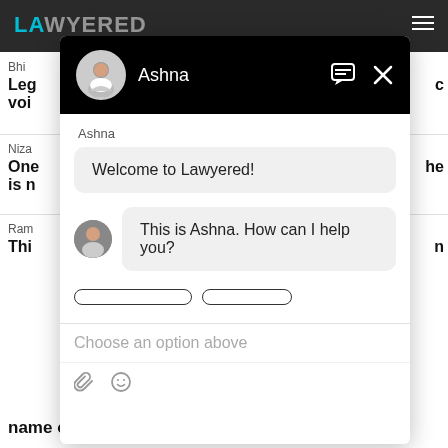[Figure (screenshot): Screenshot of Lawyered website with a chat popup overlay. The chat popup shows an agent named Ashna greeting the user with 'Welcome to Lawyered!' and 'This is Ashna. How can I help you?' messages. The background shows partially visible lawyer listings. The chat input shows 'Choose an option above' placeholder text.]